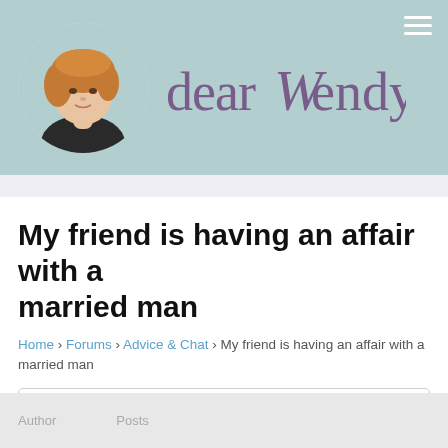[Figure (logo): Dear Wendy website header with circular portrait photo of Wendy on teal background and 'dear Wendy' logo text in purple]
My friend is having an affair with a married man
Home › Forums › Advice & Chat › My friend is having an affair with a married man
This topic has 52 replies, 5 voices, and was last updated 1 year, 1 month ago by Justina.
Viewing 12 posts - 13 through 24 (of 53 total)
← 1 2 3 4 5 →
Author    Posts